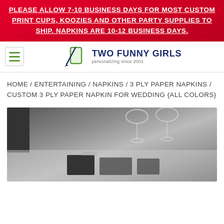PLEASE ALLOW 7-10 BUSINESS DAYS FOR MOST CUSTOM PRINT CUPS, KOOZIES AND OTHER PARTY SUPPLIES TO SHIP. NAPKINS ARE 10-12 BUSINESS DAYS.
[Figure (logo): Two Funny Girls logo with pen and cup icon, text 'TWO FUNNY GIRLS personalizing since 2001']
HOME / ENTERTAINING / NAPKINS / 3 PLY PAPER NAPKINS / CUSTOM 3 PLY PAPER NAPKIN FOR WEDDING {ALL COLORS}
[Figure (photo): Grayscale photo of custom napkins on a table setting with wine glasses in the background]